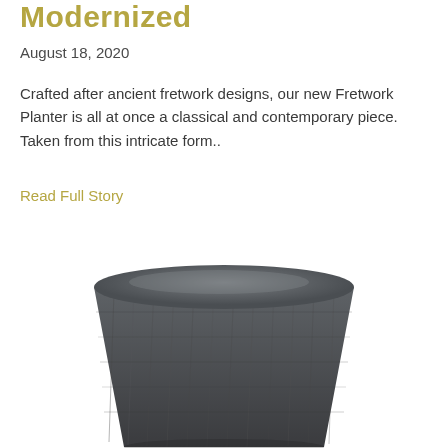Modernized
August 18, 2020
Crafted after ancient fretwork designs, our new Fretwork Planter is all at once a classical and contemporary piece. Taken from this intricate form..
Read Full Story
[Figure (photo): A dark gray cylindrical fretwork planter with textured surface, wider at the top and narrowing toward the bottom, viewed from a slightly elevated angle.]